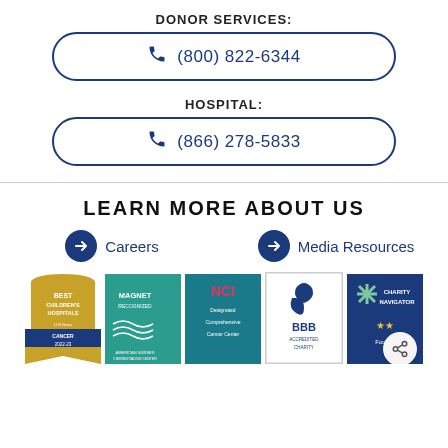DONOR SERVICES:
(800) 822-6344
HOSPITAL:
(866) 278-5833
LEARN MORE ABOUT US
Careers
Media Resources
[Figure (logo): Best Children's Hospitals U.S. News Cancer 2022-23 badge]
[Figure (logo): Magnet Recognized American Nurses Credentialing Center badge]
[Figure (logo): NCI Designated Comprehensive Cancer Center badge]
[Figure (logo): BBB Accredited Charity badge]
[Figure (logo): Charity Navigator Four Star badge]